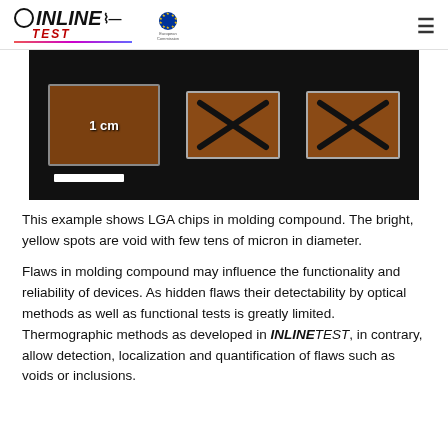INLINETEST logo and European Commission logo
[Figure (photo): Photo of three LGA chip packages in molding compound on a dark background. The left chip has a '1 cm' scale bar overlay with a white rectangle below it. The middle and right chips each have a black X mark drawn on them. The chips show brownish-orange color.]
This example shows LGA chips in molding compound. The bright, yellow spots are void with few tens of micron in diameter.
Flaws in molding compound may influence the functionality and reliability of devices. As hidden flaws their detectability by optical methods as well as functional tests is greatly limited. Thermographic methods as developed in INLINETEST, in contrary, allow detection, localization and quantification of flaws such as voids or inclusions.